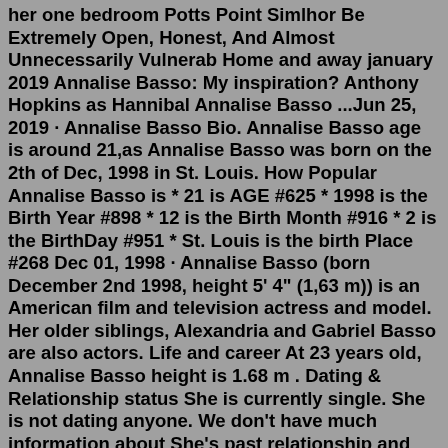her one bedroom Potts Point Simlhor Be Extremely Open, Honest, And Almost Unnecessarily Vulnerab Home and away january 2019 Annalise Basso: My inspiration? Anthony Hopkins as Hannibal Annalise Basso ...Jun 25, 2019 · Annalise Basso Bio. Annalise Basso age is around 21,as Annalise Basso was born on the 2th of Dec, 1998 in St. Louis. How Popular Annalise Basso is * 21 is AGE #625 * 1998 is the Birth Year #898 * 12 is the Birth Month #916 * 2 is the BirthDay #951 * St. Louis is the birth Place #268 Dec 01, 1998 · Annalise Basso (born December 2nd 1998, height 5' 4" (1,63 m)) is an American film and television actress and model. Her older siblings, Alexandria and Gabriel Basso are also actors. Life and career At 23 years old, Annalise Basso height is 1.68 m . Dating & Relationship status She is currently single. She is not dating anyone. We don't have much information about She's past relationship and any previous engaged. According to our Database, She has no children. Annalise Basso Net Worth Her net worth has been growing significantly in 2020-2021.Actress